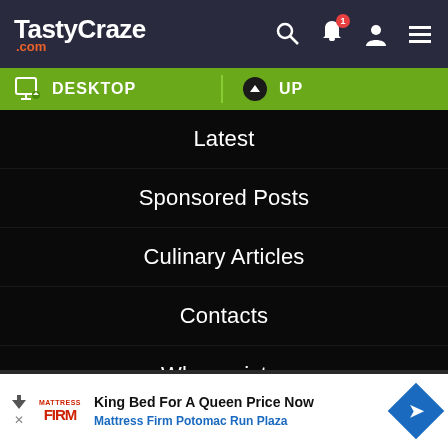TastyCraze .com
[Figure (screenshot): Green navigation bar with DESKTOP and UP labels and icons]
Latest
Sponsored Posts
Culinary Articles
Contacts
Why register
POPULAR
The Amazing Benefits of Carrot Juice
[Figure (screenshot): Advertisement banner: King Bed For A Queen Price Now, Mattress Firm Potomac Run Plaza]